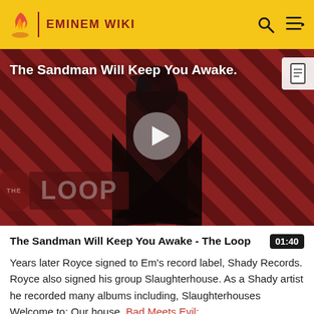EMINEM WIKI
[Figure (screenshot): Video thumbnail for 'The Sandman Will Keep You Awake - The Loop' showing a dark figure in black against a red and black striped background with 'THE LOOP' watermark and a play button overlay]
The Sandman Will Keep You Awake - The Loop
Years later Royce signed to Em's record label, Shady Records. Royce also signed his group Slaughterhouse. As a Shady artist he recorded many albums including, Slaughterhouses Welcome to: Our house, Bad Meets Evil: